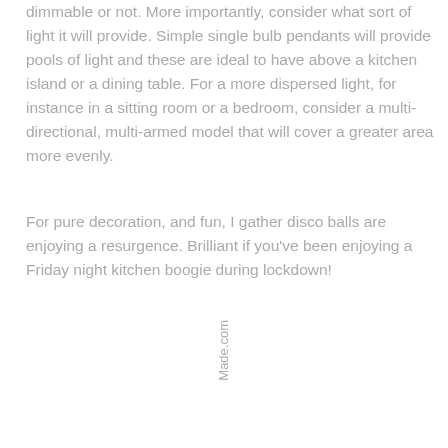dimmable or not. More importantly, consider what sort of light it will provide. Simple single bulb pendants will provide pools of light and these are ideal to have above a kitchen island or a dining table. For a more dispersed light, for instance in a sitting room or a bedroom, consider a multi-directional, multi-armed model that will cover a greater area more evenly.
For pure decoration, and fun, I gather disco balls are enjoying a resurgence. Brilliant if you've been enjoying a Friday night kitchen boogie during lockdown!
Made.com